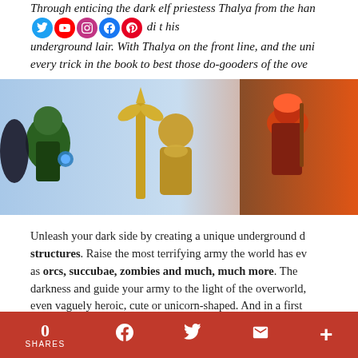Through enticing the dark elf priestess Thalya from the light, the Dungeon Lord has gained a powerful new lieutenant. With Thalya on the front line, and the ultimate evil behind it, you must use every trick in the book to best those do-gooders of the overworld.
[Figure (illustration): Fantasy game artwork showing armored characters in battle, including a warrior with golden staff/scepter, a bearded knight in golden armor, and a red-haired character in an orange/fiery background.]
Unleash your dark side by creating a unique underground dungeon from a huge array of rooms and structures. Raise the most terrifying army the world has ever seen, choosing from such monstrous minions as orcs, succubae, zombies and much, much more. Then, once you've peeled back enough of the overworld's darkness and guide your army to the light of the overworld, smite everything that is even vaguely heroic, cute or unicorn-shaped. And in a first for the genre, Dungeons 2 features randomly generated levels, so that no two sessions are alike – never stop sowing chaos!
Feature List
0 SHARES